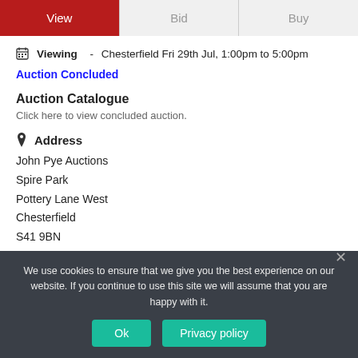View | Bid | Buy
Viewing - Chesterfield Fri 29th Jul, 1:00pm to 5:00pm
Auction Concluded
Auction Catalogue
Click here to view concluded auction.
Address
John Pye Auctions
Spire Park
Pottery Lane West
Chesterfield
S41 9BN
We use cookies to ensure that we give you the best experience on our website. If you continue to use this site we will assume that you are happy with it.